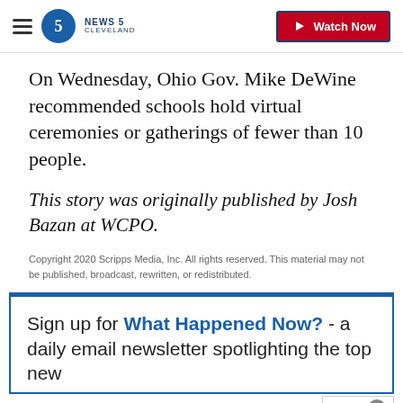NEWS 5 CLEVELAND | Watch Now
On Wednesday, Ohio Gov. Mike DeWine recommended schools hold virtual ceremonies or gatherings of fewer than 10 people.
This story was originally published by Josh Bazan at WCPO.
Copyright 2020 Scripps Media, Inc. All rights reserved. This material may not be published, broadcast, rewritten, or redistributed.
Sign up for What Happened Now? - a daily email newsletter spotlighting the top new